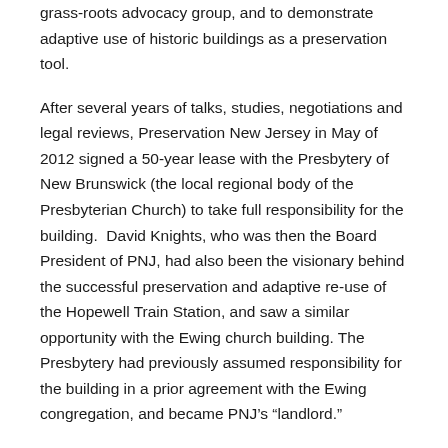grass-roots advocacy group, and to demonstrate adaptive use of historic buildings as a preservation tool.
After several years of talks, studies, negotiations and legal reviews, Preservation New Jersey in May of 2012 signed a 50-year lease with the Presbytery of New Brunswick (the local regional body of the Presbyterian Church) to take full responsibility for the building.  David Knights, who was then the Board President of PNJ, had also been the visionary behind the successful preservation and adaptive re-use of the Hopewell Train Station, and saw a similar opportunity with the Ewing church building. The Presbytery had previously assumed responsibility for the building in a prior agreement with the Ewing congregation, and became PNJ's “landlord.”